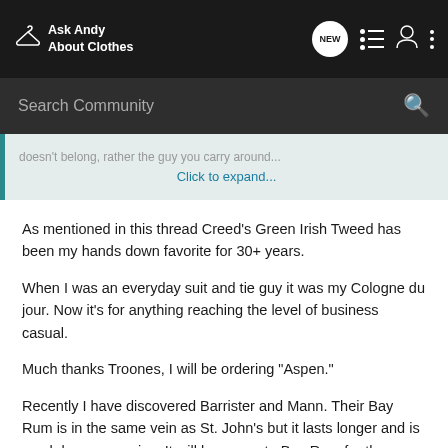Ask Andy About Clothes
Search Community
doesn't belong, rather the guy you carry around... Click to expand...
As mentioned in this thread Creed's Green Irish Tweed has been my hands down favorite for 30+ years.
When I was an everyday suit and tie guy it was my Cologne du jour. Now it's for anything reaching the level of business casual.
Much thanks Troones, I will be ordering "Aspen."
Recently I have discovered Barrister and Mann. Their Bay Rum is in the same vein as St. John's but it lasts longer and is much less expensive. It will be my go to Bay Rum for the foreseeable